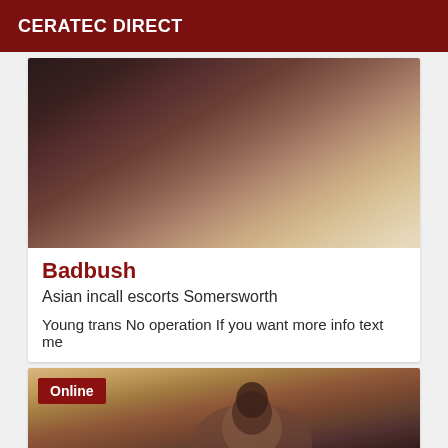CERATEC DIRECT
[Figure (photo): Close-up photo showing dark-skinned body parts against a light beige/tan fabric background]
Badbush
Asian incall escorts Somersworth
Young trans No operation If you want more info text me
[Figure (photo): Photo of a young woman with long dark hair, with an 'Online' badge overlay in the top-left corner]